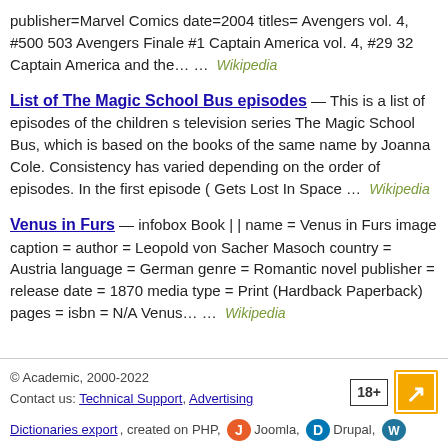publisher=Marvel Comics date=2004 titles= Avengers vol. 4, #500 503 Avengers Finale #1 Captain America vol. 4, #29 32 Captain America and the… …  Wikipedia
List of The Magic School Bus episodes — This is a list of episodes of the children s television series The Magic School Bus, which is based on the books of the same name by Joanna Cole. Consistency has varied depending on the order of episodes. In the first episode ( Gets Lost In Space …  Wikipedia
Venus in Furs — infobox Book | | name = Venus in Furs image caption = author = Leopold von Sacher Masoch country = Austria language = German genre = Romantic novel publisher = release date = 1870 media type = Print (Hardback Paperback) pages = isbn = N/A Venus… …  Wikipedia
© Academic, 2000-2022
Contact us: Technical Support, Advertising
Dictionaries export, created on PHP, Joomla, Drupal, WordPress, MODx.